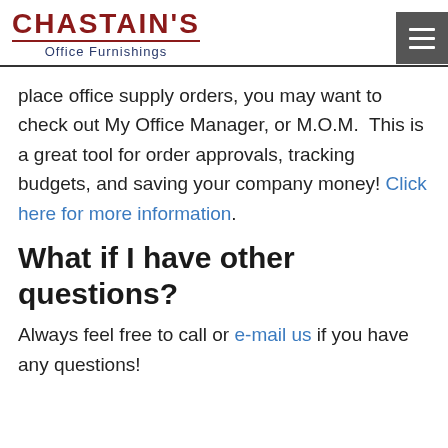CHASTAIN'S Office Furnishings
place office supply orders, you may want to check out My Office Manager, or M.O.M.  This is a great tool for order approvals, tracking budgets, and saving your company money! Click here for more information.
What if I have other questions?
Always feel free to call or e-mail us if you have any questions!